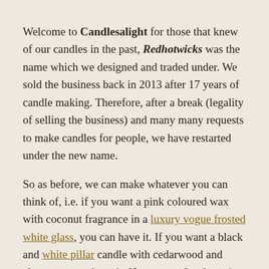Welcome to Candlesalight for those that knew of our candles in the past, Redhotwicks was the name which we designed and traded under. We sold the business back in 2013 after 17 years of candle making. Therefore, after a break (legality of selling the business) and many many requests to make candles for people, we have restarted under the new name.
So as before, we can make whatever you can think of, i.e. if you want a pink coloured wax with coconut fragrance in a luxury vogue frosted white glass, you can have it. If you want a black and white pillar candle with cedarwood and clove, you can have it. If you want 3 colours in a Honey Pot glass with vanilla, lime, coconut and cherry blossom fragrance, you can have it. We like to think outside of the glass and let you design your own candle.
If we don't have the oil or fragrance we will source it; in a